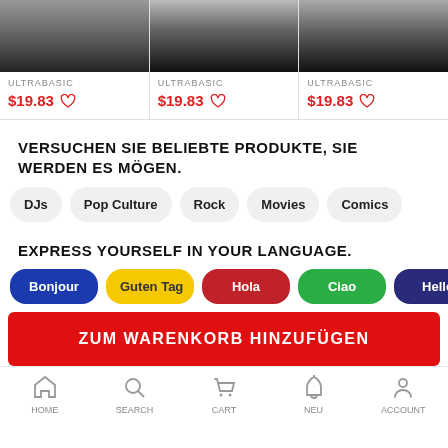[Figure (screenshot): Three product cards showing ULTRABASIC brand t-shirts with models, each priced at $19.83 with a heart/wishlist icon]
VERSUCHEN SIE BELIEBTE PRODUKTE, SIE WERDEN ES MÖGEN.
DJs
Pop Culture
Rock
Movies
Comics
EXPRESS YOURSELF IN YOUR LANGUAGE.
Bonjour
Guten Tag
Hola
Ciao
Hello
ZUM WARENKORB HINZUFÜGEN
HOME  SEARCH  CART  NEU  ACCOUNT